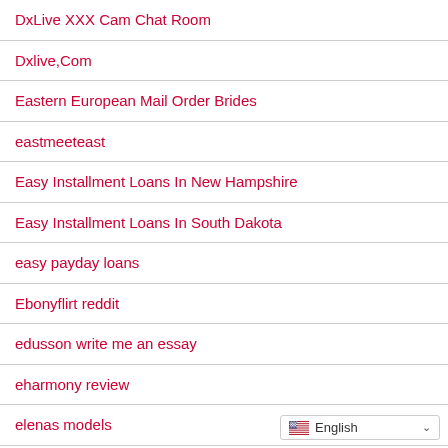DxLive XXX Cam Chat Room
Dxlive,Com
Eastern European Mail Order Brides
eastmeeteast
Easy Installment Loans In New Hampshire
Easy Installment Loans In South Dakota
easy payday loans
Ebonyflirt reddit
edusson write me an essay
eharmony review
elenas models
email check